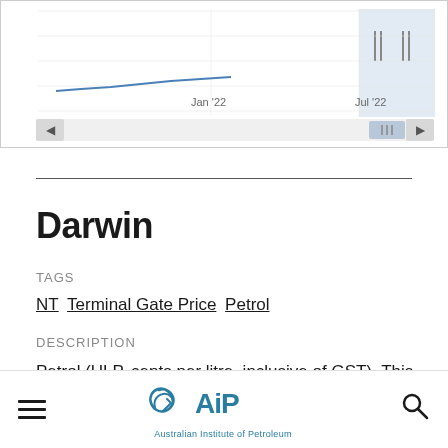[Figure (continuous-plot): Partial view of a line chart showing price trend over time, with x-axis labels 'Jan '22' and 'Jul '22'. A blue highlighted region is visible near Jul '22. Scroll/zoom controls are visible.]
Darwin
TAGS
NT Terminal Gate Price Petrol
DESCRIPTION
Petrol (ULP, cents per litre, inclusive of GST), This data is based on information provided by BP Australia, Ampol, ExxonMobil and Viva Energy Australia. Prices
Australian Institute of Petroleum